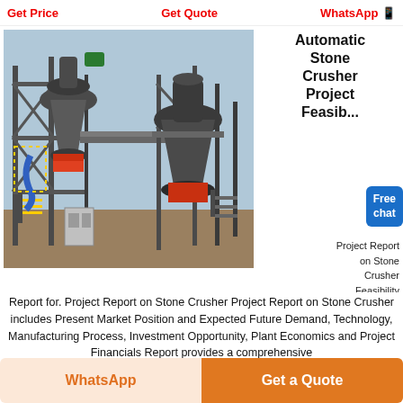Get Price   Get Quote   WhatsApp
[Figure (photo): Industrial stone crusher plant machinery with large cone crusher units, scaffolding, conveyor belts, and control cabinet on an outdoor construction site.]
Automatic Stone Crusher Project Feasibility Report
Project Report on Stone Crusher Feasibility
Report for. Project Report on Stone Crusher Project Report on Stone Crusher includes Present Market Position and Expected Future Demand, Technology, Manufacturing Process, Investment Opportunity, Plant Economics and Project Financials Report provides a comprehensive
WhatsApp   Get a Quote